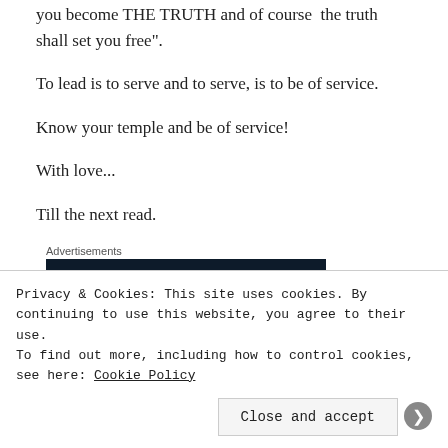you become THE TRUTH and of course  the truth shall set you free".
To lead is to serve and to serve, is to be of service.
Know your temple and be of service!
With love...
Till the next read.
Advertisements
[Figure (logo): WordPress logo on dark navy background advertisement box]
Privacy & Cookies: This site uses cookies. By continuing to use this website, you agree to their use.
To find out more, including how to control cookies, see here: Cookie Policy
Close and accept